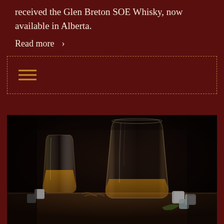received the Glen Breton SOE Whisky, now available in Alberta.
Read more  >
[Figure (other): Dashed border box with hamburger menu icon (three horizontal golden lines)]
[Figure (photo): Dark atmospheric photograph of two whisky glasses with amber liquid, whisky stones (granite cubes), and organic garnishes on a dark wooden table surface.]